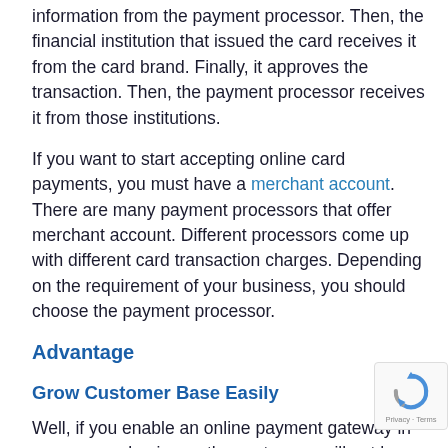information from the payment processor. Then, the financial institution that issued the card receives it from the card brand. Finally, it approves the transaction. Then, the payment processor receives it from those institutions.
If you want to start accepting online card payments, you must have a merchant account. There are many payment processors that offer merchant account. Different processors come up with different card transaction charges. Depending on the requirement of your business, you should choose the payment processor.
Advantage
Grow Customer Base Easily
Well, if you enable an online payment gateway in your business, the customers will not have to come to you. They can make transactions sitting from their convenient